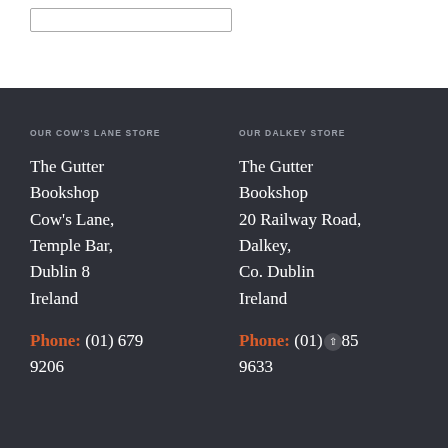OUR COW'S LANE STORE
The Gutter Bookshop
Cow's Lane,
Temple Bar,
Dublin 8
Ireland
Phone: (01) 679 9206
OUR DALKEY STORE
The Gutter Bookshop
20 Railway Road,
Dalkey,
Co. Dublin
Ireland
Phone: (01) 285 9633